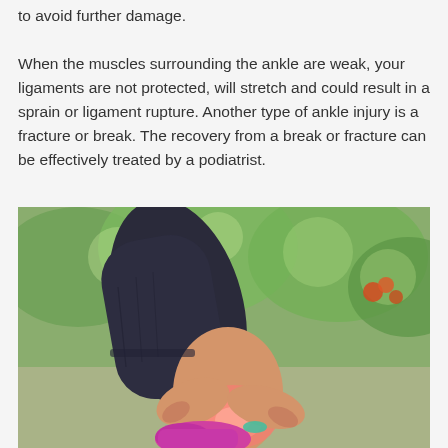to avoid further damage.

When the muscles surrounding the ankle are weak, your ligaments are not protected, will stretch and could result in a sprain or ligament rupture. Another type of ankle injury is a fracture or break. The recovery from a break or fracture can be effectively treated by a podiatrist.
[Figure (photo): A person sitting outdoors holding their ankle with both hands, showing pain or injury at the ankle area with a pink/red glow indicating pain. The person is wearing dark athletic pants and a pink shoe. Green trees and bokeh background visible.]